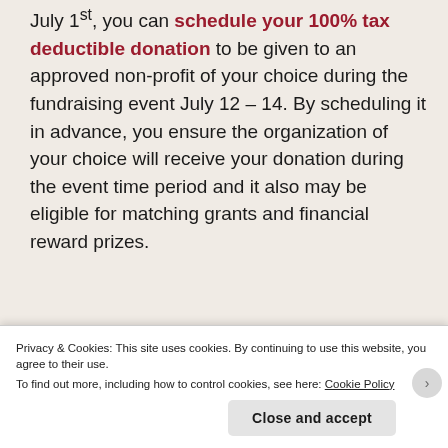July 1st, you can schedule your 100% tax deductible donation to be given to an approved non-profit of your choice during the fundraising event July 12 – 14. By scheduling it in advance, you ensure the organization of your choice will receive your donation during the event time period and it also may be eligible for matching grants and financial reward prizes.
[Figure (screenshot): WordPress advertisement banner with text 'WordPress in the back.' on a warm orange/pink gradient background with organic blob shapes]
Privacy & Cookies: This site uses cookies. By continuing to use this website, you agree to their use.
To find out more, including how to control cookies, see here: Cookie Policy
Close and accept